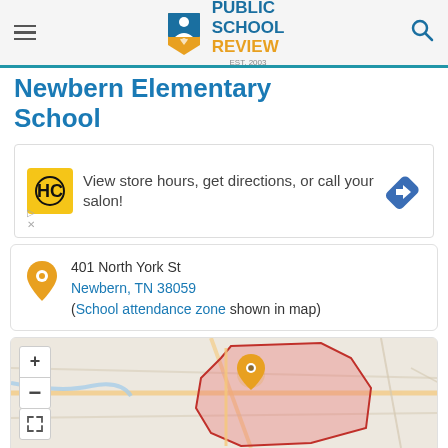PUBLIC SCHOOL REVIEW EST. 2003
Newbern Elementary School
[Figure (other): Advertisement banner: HC salon logo with text 'View store hours, get directions, or call your salon!' and navigation arrow icon]
401 North York St
Newbern, TN 38059
(School attendance zone shown in map)
[Figure (map): Map showing Newbern, TN area with school attendance zone highlighted in pink/red shading, orange location pin marker, zoom in/out controls, and expand button]